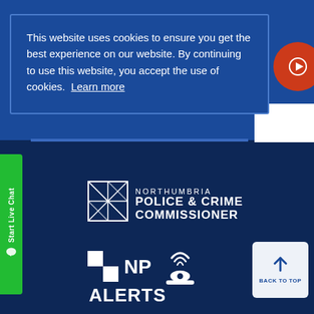This website uses cookies to ensure you get the best experience on our website. By continuing to use this website, you accept the use of cookies. Learn more
[Figure (logo): Green 'Start Live Chat' vertical button on left side]
[Figure (logo): Northumbria Police & Crime Commissioner logo with geometric crest icon and text]
[Figure (logo): NP Alerts logo with checkered pattern and police hat with wifi signal]
[Figure (other): Back to Top button with upward arrow]